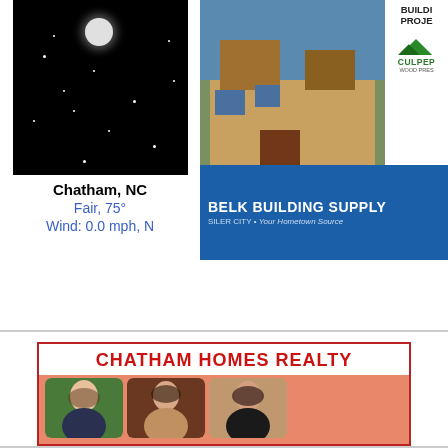[Figure (photo): Night sky photo with moon and stars, labeled Chatham, NC]
Chatham, NC
Fair, 75°
Wind: 0.0 mph, N
[Figure (photo): Building/house photo advertisement for Belk Building Supply, Siler City with Culpeper Wood Preserv logo]
[Figure (advertisement): Chatham Homes Realty advertisement with three women's headshot photos on salmon/coral background]